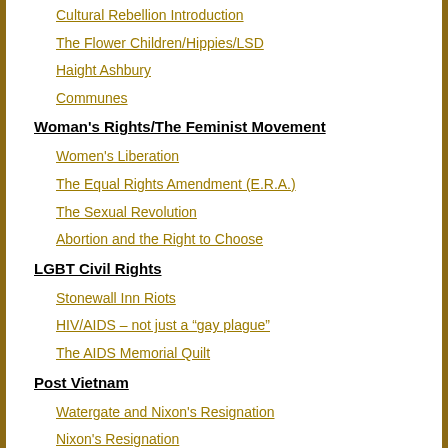Cultural Rebellion Introduction
The Flower Children/Hippies/LSD
Haight Ashbury
Communes
Woman's Rights/The Feminist Movement
Women's Liberation
The Equal Rights Amendment (E.R.A.)
The Sexual Revolution
Abortion and the Right to Choose
LGBT Civil Rights
Stonewall Inn Riots
HIV/AIDS – not just a “gay plague”
The AIDS Memorial Quilt
Post Vietnam
Watergate and Nixon's Resignation
Nixon's Resignation
The Watergate Legacy